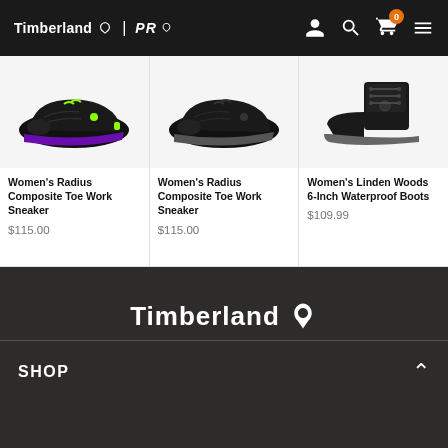[Figure (screenshot): Timberland PRO website header with logo, user icon, search icon, cart icon with badge showing 0, and hamburger menu]
[Figure (photo): Women's Radius Composite Toe Work Sneaker - black and purple colorway]
Women's Radius Composite Toe Work Sneaker
$115.00
[Figure (photo): Women's Radius Composite Toe Work Sneaker - all black colorway]
Women's Radius Composite Toe Work Sneaker
$115.00
[Figure (photo): Women's Linden Woods 6-Inch Waterproof Boots - black]
Women's Linden Woods 6-Inch Waterproof Boots
$109.99
[Figure (logo): Timberland logo with tree icon in white on dark background]
SHOP